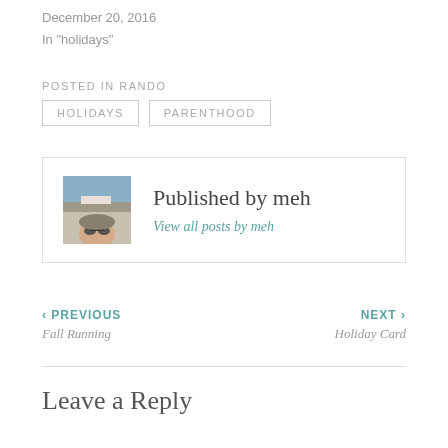December 20, 2016
In "holidays"
POSTED IN RANDO
HOLIDAYS
PARENTHOOD
Published by meh
View all posts by meh
‹ PREVIOUS
Fall Running
NEXT ›
Holiday Card
Leave a Reply